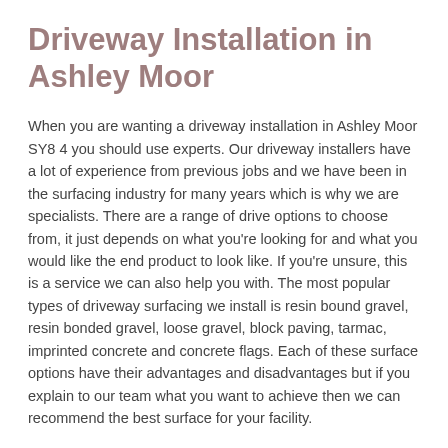Driveway Installation in Ashley Moor
When you are wanting a driveway installation in Ashley Moor SY8 4 you should use experts. Our driveway installers have a lot of experience from previous jobs and we have been in the surfacing industry for many years which is why we are specialists. There are a range of drive options to choose from, it just depends on what you're looking for and what you would like the end product to look like. If you're unsure, this is a service we can also help you with. The most popular types of driveway surfacing we install is resin bound gravel, resin bonded gravel, loose gravel, block paving, tarmac, imprinted concrete and concrete flags. Each of these surface options have their advantages and disadvantages but if you explain to our team what you want to achieve then we can recommend the best surface for your facility.
If you'd like to find out about the different products and services which we're able to provide, then please fill in our application for. This is the most convenient thing to do and there are many options in